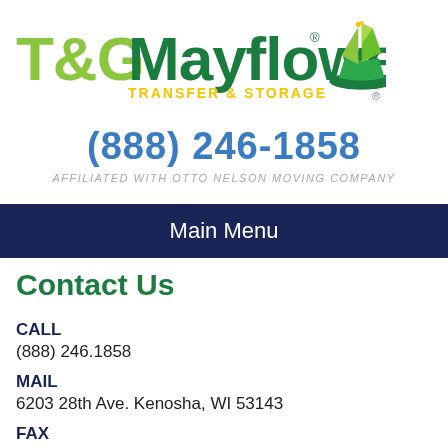[Figure (logo): T&G Mayflower Transfer & Storage logo with green ship icon]
(888) 246-1858
AFFILIATED WITH OTTO NELSON MOVING COMPANY
Main Menu
Contact Us
CALL
(888) 246.1858
MAIL
6203 28th Ave. Kenosha, WI 53143
FAX